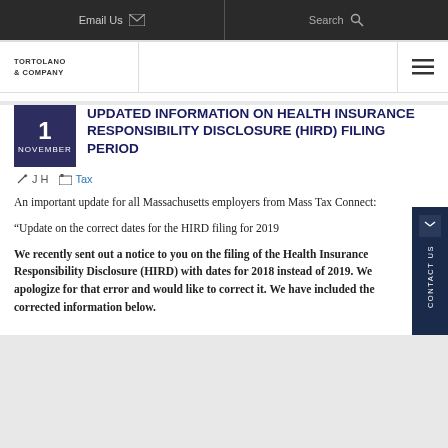Email Us | Search
TORTOLANO & COMPANY
UPDATED INFORMATION ON HEALTH INSURANCE RESPONSIBILITY DISCLOSURE (HIRD) FILING PERIOD
J H | Tax | 1 NOVEMBER
An important update for all Massachusetts employers from Mass Tax Connect:
“Update on the correct dates for the HIRD filing for 2019
We recently sent out a notice to you on the filing of the Health Insurance Responsibility Disclosure (HIRD) with dates for 2018 instead of 2019. We apologize for that error and would like to correct it. We have included the corrected information below.